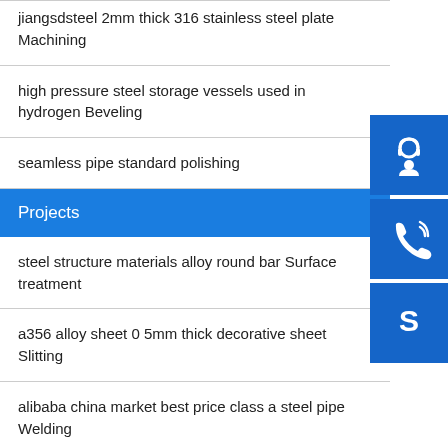jiangsdsteel 2mm thick 316 stainless steel plate Machining
high pressure steel storage vessels used in hydrogen Beveling
seamless pipe standard polishing
Projects
steel structure materials alloy round bar Surface treatment
a356 alloy sheet 0 5mm thick decorative sheet Slitting
alibaba china market best price class a steel pipe Welding